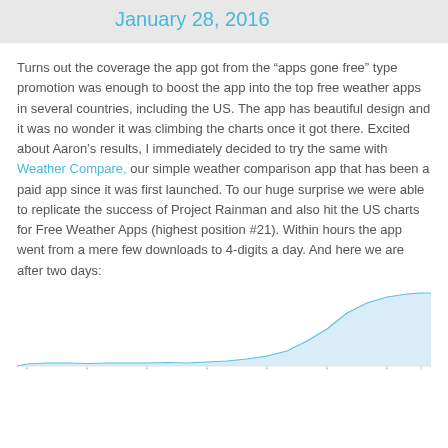January 28, 2016
Turns out the coverage the app got from the “apps gone free” type promotion was enough to boost the app into the top free weather apps in several countries, including the US. The app has beautiful design and it was no wonder it was climbing the charts once it got there. Excited about Aaron’s results, I immediately decided to try the same with Weather Compare, our simple weather comparison app that has been a paid app since it was first launched. To our huge surprise we were able to replicate the success of Project Rainman and also hit the US charts for Free Weather Apps (highest position #21). Within hours the app went from a mere few downloads to 4-digits a day. And here we are after two days:
[Figure (area-chart): Area chart showing download growth over two days, with a sharp upward curve toward the right side. The area is filled with a light blue color. X-axis shows time intervals, y-axis not labeled with values visible.]